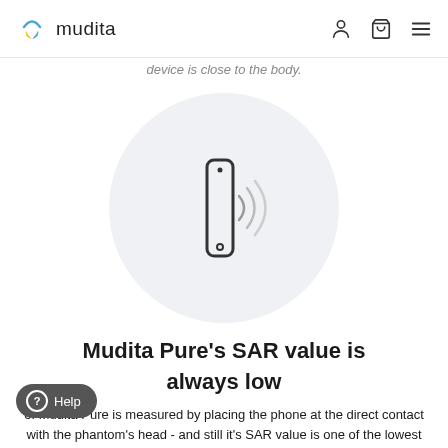mudita
device is close to the body.
[Figure (illustration): Circular light grey background with a phone/device icon emitting wireless signal waves to the right]
Mudita Pure's SAR value is always low
of Mudita Pure is measured by placing the phone at the direct contact with the phantom's head - and still it's SAR value is one of the lowest of all phones.